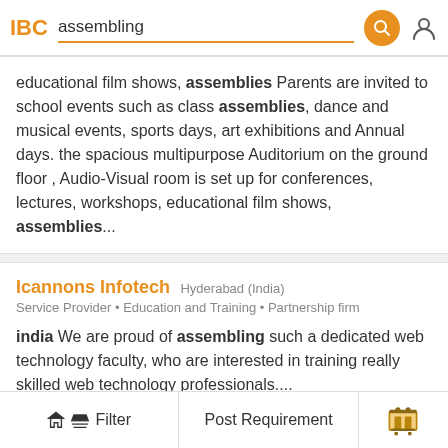IBC  assembling
educational film shows, assemblies Parents are invited to school events such as class assemblies, dance and musical events, sports days, art exhibitions and Annual days. the spacious multipurpose Auditorium on the ground floor , Audio-Visual room is set up for conferences, lectures, workshops, educational film shows, assemblies...
Icannons Infotech  Hyderabad (India)
Service Provider • Education and Training • Partnership firm
india We are proud of assembling such a dedicated web technology faculty, who are interested in training really skilled web technology professionals....
Magnum Glass Works.  Cochin (India)
Manufacturers & Traders • Education and Training • Proprietorship firm
Filter   Post Requirement